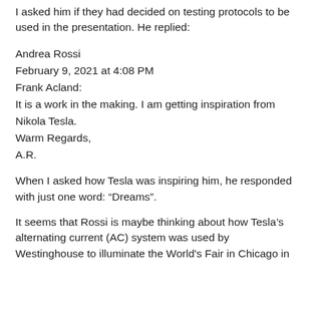I asked him if they had decided on testing protocols to be used in the presentation. He replied:
Andrea Rossi
February 9, 2021 at 4:08 PM
Frank Acland:
It is a work in the making. I am getting inspiration from Nikola Tesla.
Warm Regards,
A.R.
When I asked how Tesla was inspiring him, he responded with just one word: “Dreams”.
It seems that Rossi is maybe thinking about how Tesla’s alternating current (AC) system was used by Westinghouse to illuminate the World's Fair in Chicago in